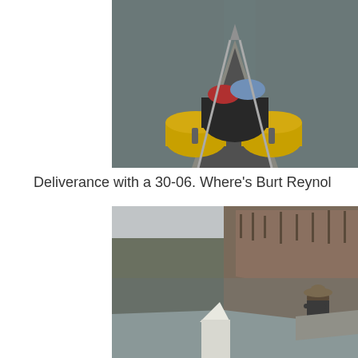[Figure (photo): View from inside a loaded canoe looking forward along the bow over gear (yellow dry bags, black bags, red and blue items) on calm dark water. Taken from paddler's perspective.]
Deliverance with a 30-06. Where's Burt Reynol
[Figure (photo): Canoe on a calm river with tree-covered hills in the background reflecting in the still water. A paddler wearing a hat is visible in the bow of the canoe. Autumn/winter scene with bare trees.]